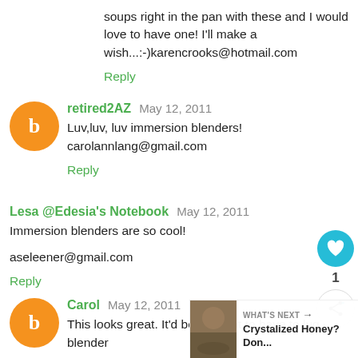soups right in the pan with these and I would love to have one! I'll make a wish...:-) karencrooks@hotmail.com
Reply
retired2AZ  May 12, 2011
Luv,luv, luv immersion blenders!
carolannlang@gmail.com
Reply
Lesa @Edesia's Notebook  May 12, 2011
Immersion blenders are so cool!

aseleener@gmail.com
Reply
Carol  May 12, 2011
This looks great. It'd be nice not to have to lug the blender